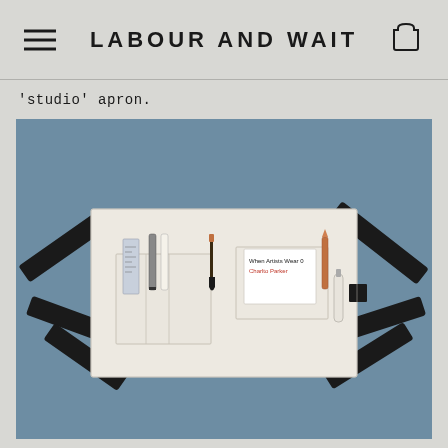LABOUR AND WAIT
'studio' apron.
[Figure (photo): A white canvas studio apron laid flat on a slate blue background, with black fabric ties extending from left and right corners. The apron has pockets containing art supplies: a ruler, pens, a paintbrush, a book labeled 'When Artists Wear 0 Chartio Porter', a tube, and a small dark square eraser.]